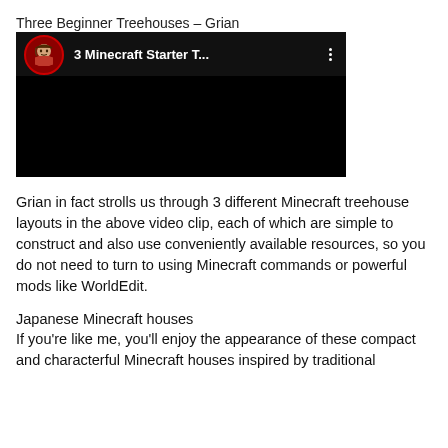Three Beginner Treehouses – Grian
[Figure (screenshot): YouTube video thumbnail showing '3 Minecraft Starter T...' with a chibi-style avatar icon on a dark background with three-dot menu icon]
Grian in fact strolls us through 3 different Minecraft treehouse layouts in the above video clip, each of which are simple to construct and also use conveniently available resources, so you do not need to turn to using Minecraft commands or powerful mods like WorldEdit.
Japanese Minecraft houses
If you're like me, you'll enjoy the appearance of these compact and characterful Minecraft houses inspired by traditional Japanese design.